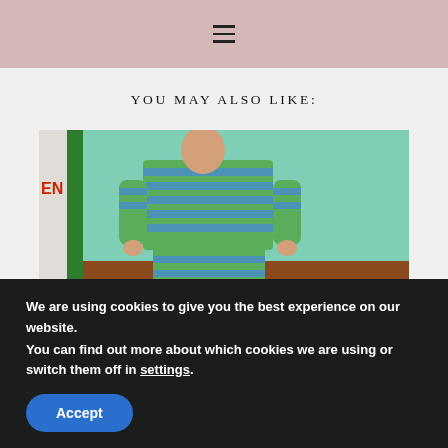Navigation menu
YOU MAY ALSO LIKE:
[Figure (photo): A person wearing a green and blue striped matching set (top and shorts), holding a small bag, standing in front of a brick wall with a green pole and a teal painted wall. An 'OPEN' sign is partially visible on the left.]
Green & Blue Stripe Set.
We are using cookies to give you the best experience on our website.
You can find out more about which cookies we are using or switch them off in settings.
Accept